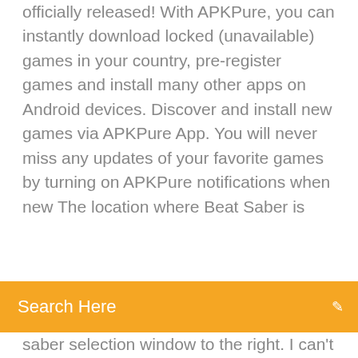officially released! With APKPure, you can instantly download locked (unavailable) games in your country, pre-register games and install many other apps on Android devices. Discover and install new games via APKPure App. You will never miss any updates of your favorite games by turning on APKPure notifications when new The location where Beat Saber is
Search Here
saber selection window to the right. I can't seem to scroll past the first screen of custom sabers. Am I doing something wrong? #7. yeet. 21. juni 2018 kl. 11:28 Opprinnelig skrevet av Farseer: This is excellent - I just We believe rhythm hides in everyone's heart! It may be ignored, but never get lost. Let's hit the sonic road and find your own shining rhythm.♩ One of the most addictive games in 2020 is coming!!!!! Sonic Cat is an innovative combination of fancy music and fast-paced gameplay, all you need to do is to listen to the music♩ and move your fingers. Come on! Let's follow the rhythm and Beat Saber